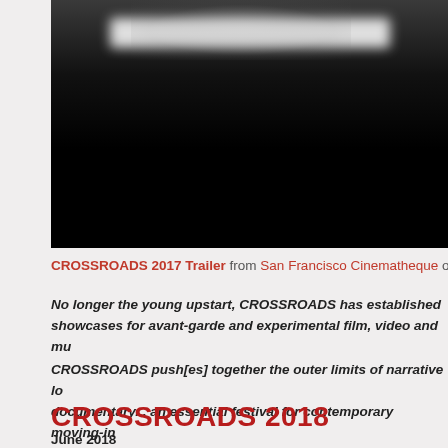[Figure (screenshot): Dark video thumbnail/screenshot with blurred white text visible at top, mostly black background. Appears to be a film festival trailer screenshot.]
CROSSROADS 2017 Trailer from San Francisco Cinematheque on V
No longer the young upstart, CROSSROADS has established showcases for avant-garde and experimental film, video and mu
CROSSROADS push[es] together the outer limits of narrative lo documentary... an essential festival for contemporary moving-in
CROSSROADS 2018
June 2018